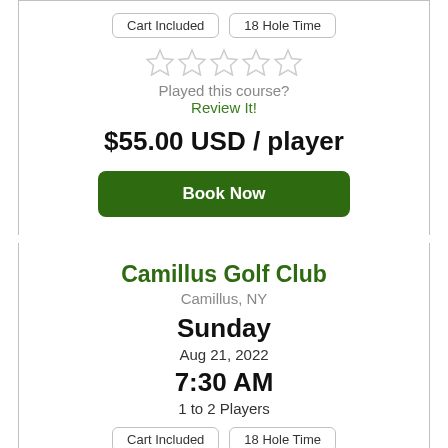Cart Included
18 Hole Time
[Figure (other): 5 empty/unfilled star rating icons]
Played this course?
Review It!
$55.00 USD / player
Book Now
Camillus Golf Club
Camillus, NY
Sunday
Aug 21, 2022
7:30 AM
1 to 2 Players
Cart Included
18 Hole Time